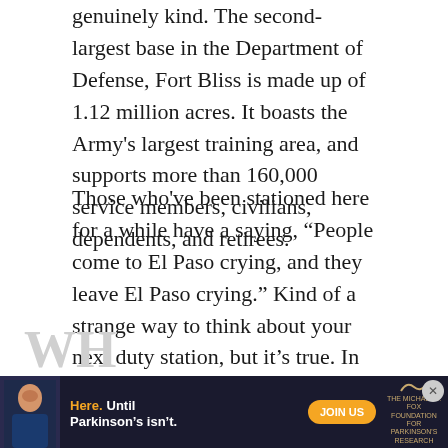genuinely kind. The second-largest base in the Department of Defense, Fort Bliss is made up of 1.12 million acres. It boasts the Army's largest training area, and supports more than 160,000 service members, civilians, dependents, and retirees.
Those who've been stationed here for a while have a saying, "People come to El Paso crying, and they leave El Paso crying." Kind of a strange way to think about your next duty station, but it's true. In the past, Fort Bliss hasn't had the best reputation so some families might not be too happy to find out they're PCSing here. But once you settle, meet new friends, and realize the amazing quality of life here, you'll be devastated to leave.
[Figure (other): Advertisement banner for The Michael J. Fox Foundation for Parkinson's Research showing a person and text 'Here. Until Parkinson's isn't.' with a JOIN US button]